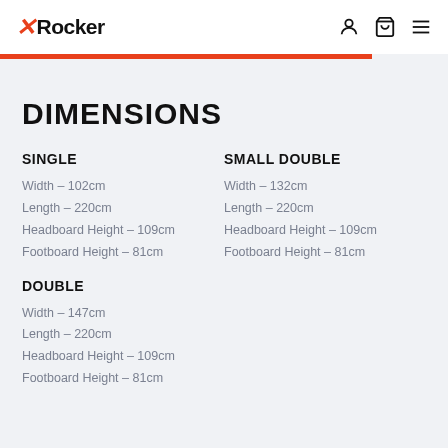X Rocker
DIMENSIONS
SINGLE
Width – 102cm
Length – 220cm
Headboard Height – 109cm
Footboard Height – 81cm
SMALL DOUBLE
Width – 132cm
Length – 220cm
Headboard Height – 109cm
Footboard Height – 81cm
DOUBLE
Width – 147cm
Length – 220cm
Headboard Height – 109cm
Footboard Height – 81cm